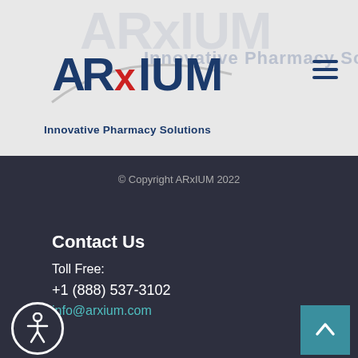[Figure (logo): ARxIUM logo with swoosh design and tagline 'Innovative Pharmacy Solutions'. Watermark version of the logo visible in background.]
© Copyright ARxIUM 2022
Contact Us
Toll Free:
+1 (888) 537-3102
info@arxium.com
Sitemap
Products
Markets